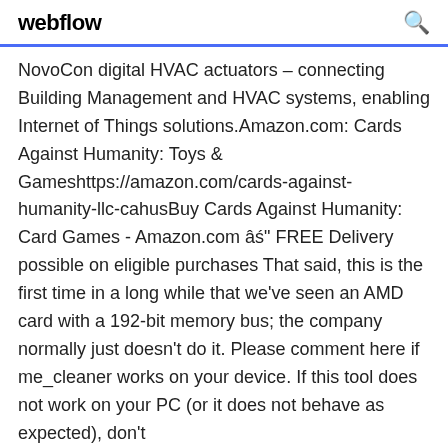webflow
NovoCon digital HVAC actuators – connecting Building Management and HVAC systems, enabling Internet of Things solutions.Amazon.com: Cards Against Humanity: Toys & Gameshttps://amazon.com/cards-against-humanity-llc-cahusBuy Cards Against Humanity: Card Games - Amazon.com âś" FREE Delivery possible on eligible purchases That said, this is the first time in a long while that we've seen an AMD card with a 192-bit memory bus; the company normally just doesn't do it. Please comment here if me_cleaner works on your device. If this tool does not work on your PC (or it does not behave as expected), don't